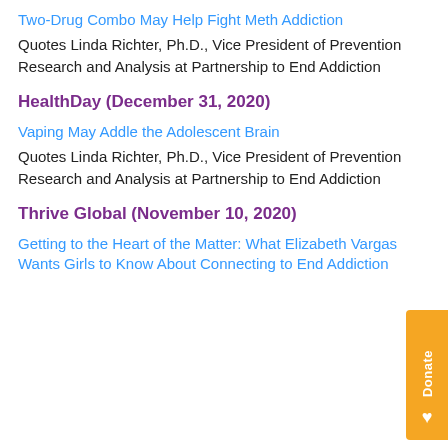Two-Drug Combo May Help Fight Meth Addiction
Quotes Linda Richter, Ph.D., Vice President of Prevention Research and Analysis at Partnership to End Addiction
HealthDay (December 31, 2020)
Vaping May Addle the Adolescent Brain
Quotes Linda Richter, Ph.D., Vice President of Prevention Research and Analysis at Partnership to End Addiction
Thrive Global (November 10, 2020)
Getting to the Heart of the Matter: What Elizabeth Vargas Wants Girls to Know About Connecting to End Addiction